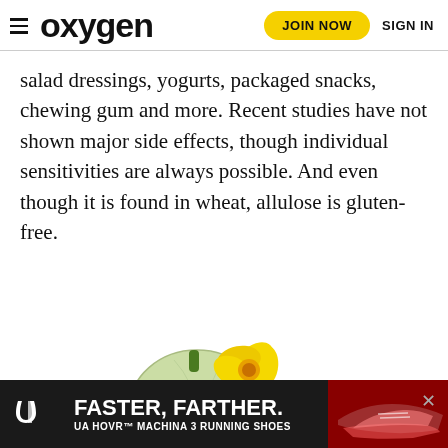oxygen  JOIN NOW  SIGN IN
salad dressings, yogurts, packaged snacks, chewing gum and more. Recent studies have not shown major side effects, though individual sensitivities are always possible. And even though it is found in wheat, allulose is gluten-free.
[Figure (illustration): Two light green zucchini squash with a yellow flower, arranged on green leafy herbs against a white background]
[Figure (infographic): Under Armour advertisement banner with dark background reading FASTER, FARTHER. UA HOVR MACHINA 3 RUNNING SHOES with shoe image on right]